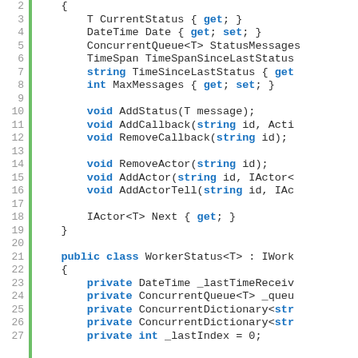[Figure (screenshot): Code snippet showing C# interface and class definitions with line numbers 2-27, including IWorkerStatus interface members (CurrentStatus, Date, StatusMessages, TimeSpanSinceLastStatus, TimeSinceLastStatus, MaxMessages, AddStatus, AddCallback, RemoveCallback, RemoveActor, AddActor, AddActorTell, Next) and beginning of WorkerStatus<T> class with private fields (_lastTimeReceived, _queue, ConcurrentDictionary, _lastIndex).]